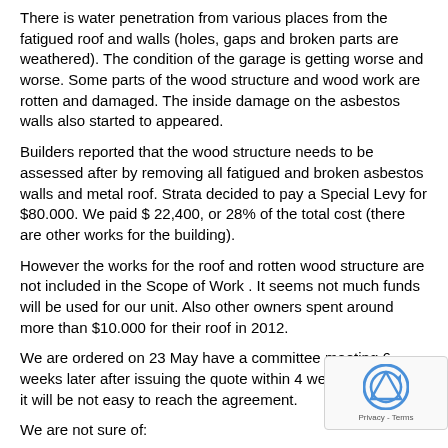There is water penetration from various places from the fatigued roof and walls (holes, gaps and broken parts are weathered). The condition of the garage is getting worse and worse. Some parts of the wood structure and wood work are rotten and damaged. The inside damage on the asbestos walls also started to appeared.
Builders reported that the wood structure needs to be assessed after by removing all fatigued and broken asbestos walls and metal roof. Strata decided to pay a Special Levy for $80.000. We paid $ 22,400, or 28% of the total cost (there are other works for the building).
However the works for the roof and rotten wood structure are not included in the Scope of Work . It seems not much funds will be used for our unit. Also other owners spent around more than $10.000 for their roof in 2012.
We are ordered on 23 May have a committee meeting 6 weeks later after issuing the quote within 4 weeks. I assume it will be not easy to reach the agreement.
We are not sure of: